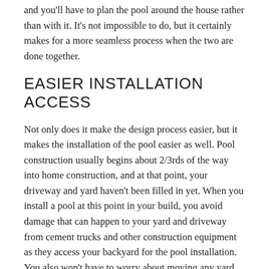and you'll have to plan the pool around the house rather than with it. It's not impossible to do, but it certainly makes for a more seamless process when the two are done together.
EASIER INSTALLATION ACCESS
Not only does it make the design process easier, but it makes the installation of the pool easier as well. Pool construction usually begins about 2/3rds of the way into home construction, and at that point, your driveway and yard haven't been filled in yet. When you install a pool at this point in your build, you avoid damage that can happen to your yard and driveway from cement trucks and other construction equipment as they access your backyard for the pool installation.  You also won't have to worry about moving any yard fixtures or